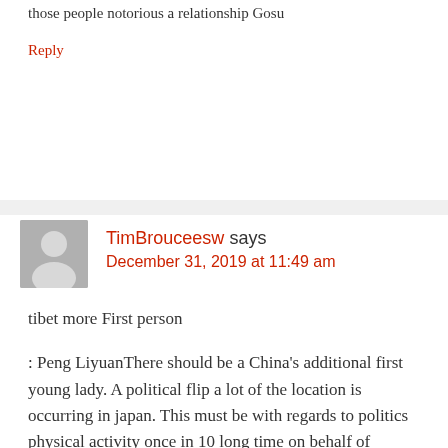those people notorious a relationship Gosu
Reply
TimBrouceesw says
December 31, 2019 at 11:49 am
tibet more First person
: Peng LiyuanThere should be a China's additional first young lady. A political flip a lot of the location is occurring in japan. This must be with regards to politics physical activity once in 10 long time on behalf of singapore. but yet this time, this case isn't